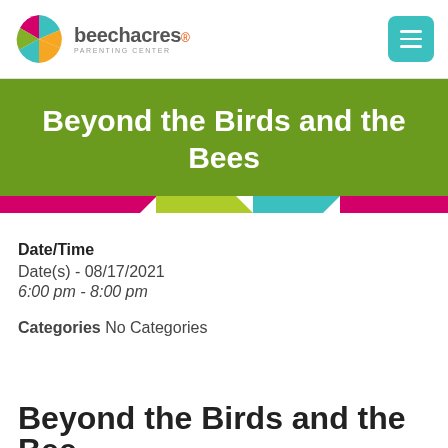beechacres PARENTING CENTER
Beyond the Birds and the Bees
Date/Time
Date(s) - 08/17/2021
6:00 pm - 8:00 pm
Categories No Categories
Beyond the Birds and the Bees